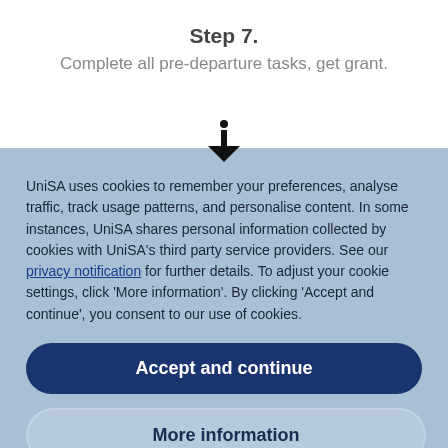Step 7.
Complete all pre-departure tasks, get grant.
UniSA uses cookies to remember your preferences, analyse traffic, track usage patterns, and personalise content. In some instances, UniSA shares personal information collected by cookies with UniSA's third party service providers. See our privacy notification for further details. To adjust your cookie settings, click 'More information'. By clicking 'Accept and continue', you consent to our use of cookies.
Accept and continue
More information